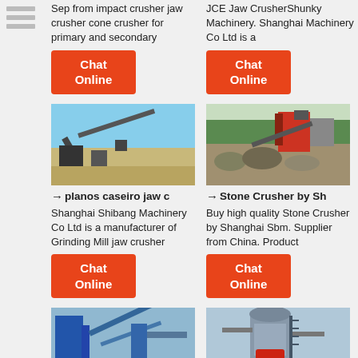[Figure (other): Sidebar navigation icon lines]
Sep from impact crusher jaw crusher cone crusher for primary and secondary
JCE Jaw CrusherShunky Machinery. Shanghai Machinery Co Ltd is a
[Figure (other): Chat Online button (orange) - left column]
[Figure (other): Chat Online button (orange) - right column]
[Figure (photo): Industrial jaw crusher machinery at an outdoor site, blue sky background]
[Figure (photo): Stone crusher machinery at a mining site with rocks and trees]
→ planos caseiro jaw c
→ Stone Crusher by Sh
Shanghai Shibang Machinery Co Ltd is a manufacturer of Grinding Mill jaw crusher
Buy high quality Stone Crusher by Shanghai Sbm. Supplier from China. Product
[Figure (other): Chat Online button (orange) - left column second row]
[Figure (other): Chat Online button (orange) - right column second row]
[Figure (photo): Industrial crushing plant with blue equipment and conveyor belts]
[Figure (photo): Large vertical grinding mill machinery with red components]